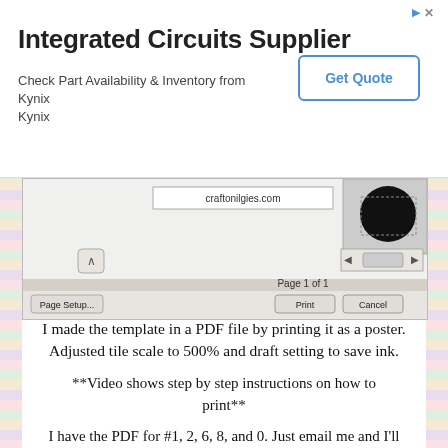[Figure (screenshot): Advertisement banner for Integrated Circuits Supplier (Kynix) with a Get Quote button]
[Figure (screenshot): Screenshot of a PDF print dialog showing a poster print with Page Setup, Print, and Cancel buttons, page 1 of 1]
I made the template in a PDF file by printing it as a poster.
Adjusted tile scale to 500% and draft setting to save ink.
**Video shows step by step instructions on how to print**
I have the PDF for #1, 2, 6, 8, and 0. Just email me and I'll send the PDF file. I'll work on making all of them and post an update.